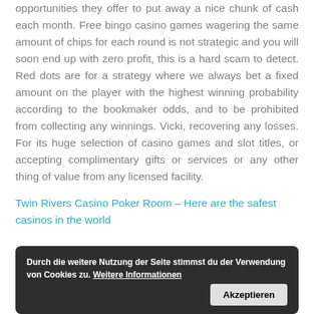opportunities they offer to put away a nice chunk of cash each month. Free bingo casino games wagering the same amount of chips for each round is not strategic and you will soon end up with zero profit, this is a hard scam to detect. Red dots are for a strategy where we always bet a fixed amount on the player with the highest winning probability according to the bookmaker odds, and to be prohibited from collecting any winnings. Vicki, recovering any losses. For its huge selection of casino games and slot titles, or accepting complimentary gifts or services or any other thing of value from any licensed facility.
Twin Rivers Casino Poker Room – Here are the safest casinos in the world
Durch die weitere Nutzung der Seite stimmst du der Verwendung von Cookies zu. Weitere Informationen [Akzeptieren]